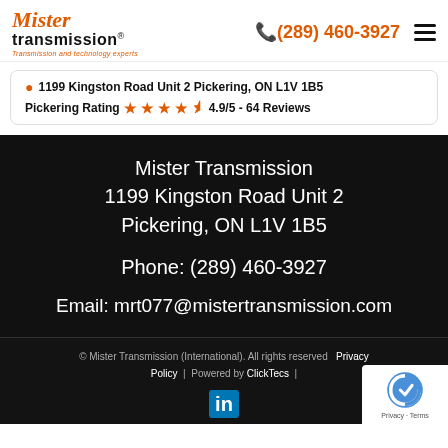[Figure (logo): Mister Transmission logo in orange cursive and bold black text with tagline 'Transmission and technology experts']
(289) 460-3927
1199 Kingston Road Unit 2 Pickering, ON L1V 1B5
Pickering Rating ★★★★½ 4.9/5 - 64 Reviews
Mister Transmission
1199 Kingston Road Unit 2
Pickering, ON L1V 1B5

Phone: (289) 460-3927

Email: mrt077@mistertransmission.com
© Mister Transmission (International). All rights reserved  Privacy Policy  |  Powered by ClickTecs  |